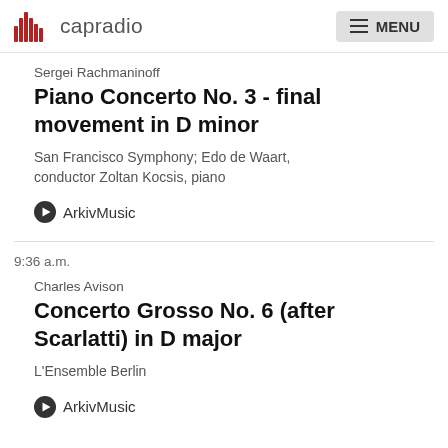capradio MENU
Sergei Rachmaninoff
Piano Concerto No. 3 - final movement in D minor
San Francisco Symphony; Edo de Waart, conductor Zoltan Kocsis, piano
ArkivMusic
9:36 a.m.
Charles Avison
Concerto Grosso No. 6 (after Scarlatti) in D major
L'Ensemble Berlin
ArkivMusic